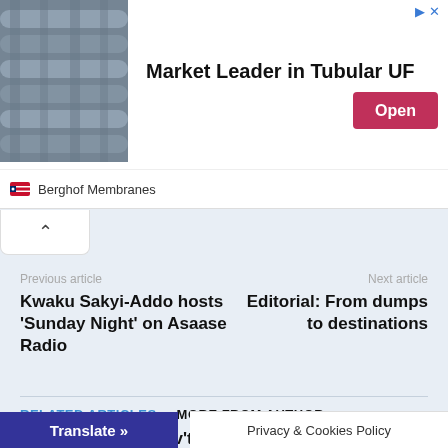[Figure (photo): Industrial tubular UF membrane pipes in a facility, ad banner for Berghof Membranes]
Market Leader in Tubular UF
Open
Berghof Membranes
Previous article
Kwaku Sakyi-Addo hosts 'Sunday Night' on Asaase Radio
Next article
Editorial: From dumps to destinations
RELATED ARTICLES
MORE FROM AUTHOR
Gov't dealing with shippers' complaints – Dep Transport Minister